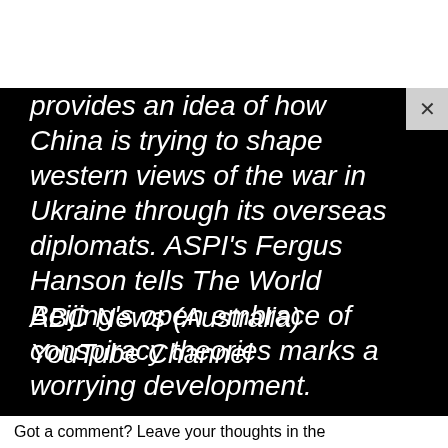provides an idea of how China is trying to shape western views of the war in Ukraine through its overseas diplomats. ASPI's Fergus Hanson tells The World Beijing's open embrace of conspiracy theories marks a worrying development.
ABC News (Australia) YouTube Channel
Got a comment? Leave your thoughts in the